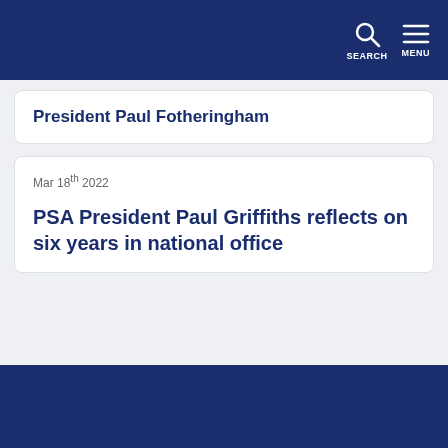SEARCH  MENU
President Paul Fotheringham
Mar 18th 2022
PSA President Paul Griffiths reflects on six years in national office